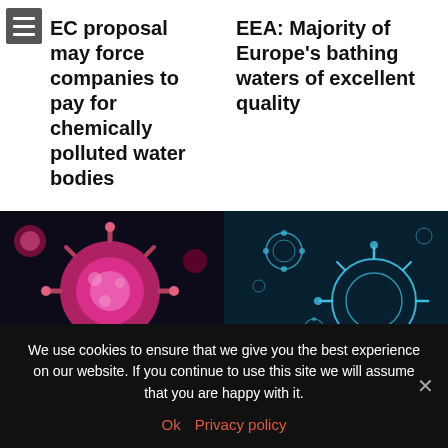EC proposal may force companies to pay for chemically polluted water bodies
EEA: Majority of Europe's bathing waters of excellent quality
[Figure (photo): Close-up of pink/red coronavirus particles against dark background]
[Figure (photo): Blue glowing coronavirus particles against dark teal background]
Monitoring spread of coronavirus through
How to treat the coronavirus in the water
We use cookies to ensure that we give you the best experience on our website. If you continue to use this site we will assume that you are happy with it.
Ok  Privacy policy